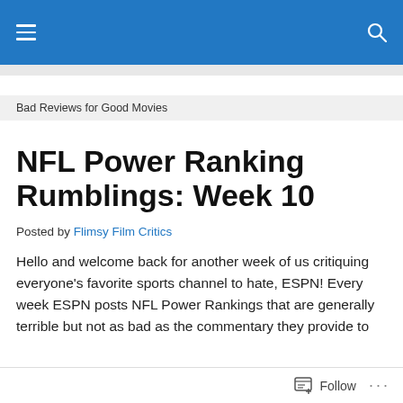Bad Reviews for Good Movies
NFL Power Ranking Rumblings: Week 10
Posted by Flimsy Film Critics
Hello and welcome back for another week of us critiquing everyone's favorite sports channel to hate, ESPN! Every week ESPN posts NFL Power Rankings that are generally terrible but not as bad as the commentary they provide to